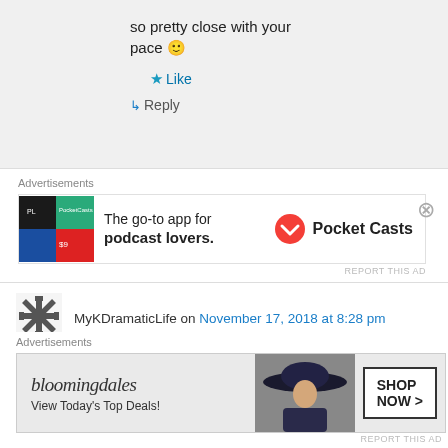so pretty close with your pace 🙂
Like
Reply
[Figure (infographic): Advertisement banner for Pocket Casts app with colorful logo grid on left, text 'The go-to app for podcast lovers.' and Pocket Casts logo on right]
REPORT THIS AD
MyKDramaticLife on November 17, 2018 at 8:28 pm
Hehehe. On my first year last year, I've finished 77 dramas. Thanks to all mv leisure extra time.
[Figure (infographic): Advertisement banner for Bloomingdales showing logo, text 'View Today's Top Deals!' with woman in hat photo and 'SHOP NOW >' button]
REPORT THIS AD